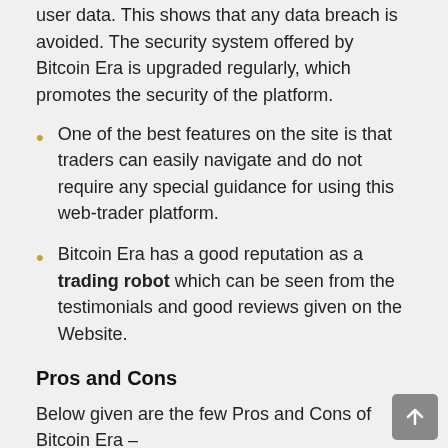user data. This shows that any data breach is avoided. The security system offered by Bitcoin Era is upgraded regularly, which promotes the security of the platform.
One of the best features on the site is that traders can easily navigate and do not require any special guidance for using this web-trader platform.
Bitcoin Era has a good reputation as a trading robot which can be seen from the testimonials and good reviews given on the Website.
Pros and Cons
Below given are the few Pros and Cons of Bitcoin Era –
| Pros | Cons |
| --- | --- |
|  | Does not offer a mobile |